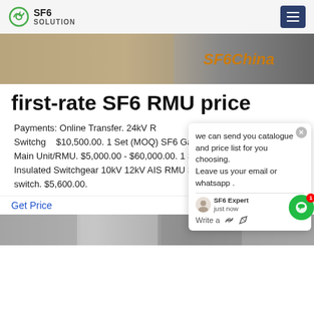SF6 SOLUTION
[Figure (photo): Hero banner image with SF6China text overlay in orange]
first-rate SF6 RMU price
Payments: Online Transfer. 24kV RMU unit SF6 Gas Insulated Switchgear. $10,500.00. 1 Set (MOQ) SF6 Gas Switchgear/ GIS/ Rimg Main Unit/RMU. $5,000.00 - $60,000.00. 1 Set (MOQ) 11kV Air Insulated Switchgear 10kV 12kV AIS RMU SM6 with SF6 load break switch. $5,600.00.
Get Price
[Figure (photo): Bottom strip showing industrial equipment photos]